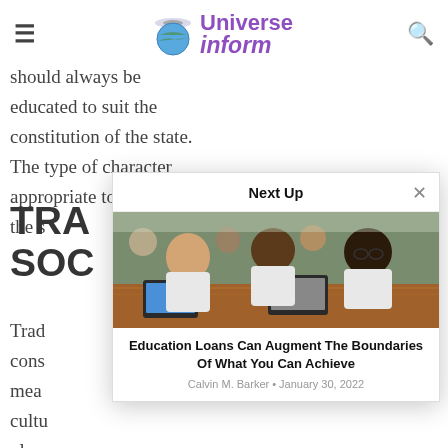Universe inform
should always be educated to suit the constitution of the state. The type of character appropriate to a cons[titution] the s[tate]
TRA[DITIONAL] SOC[IETY]
Trad[itional] cons[titution] mea[ns] cultu[re] playe[d] educ[ation]
[Figure (photo): Students in white uniforms sitting at wooden tables using tablets, with a teacher/adult interacting with them in a classroom setting]
Education Loans Can Augment The Boundaries Of What You Can Achieve
Calvin M. Barker • January 30, 2022